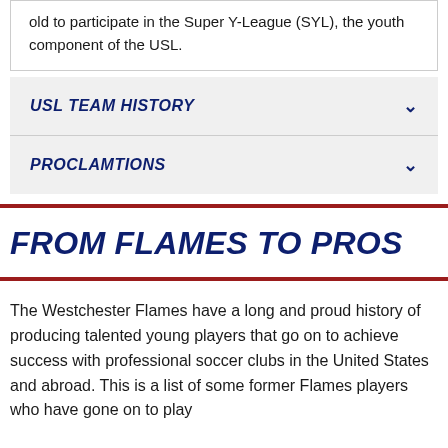old to participate in the Super Y-League (SYL), the youth component of the USL.
USL TEAM HISTORY
PROCLAMTIONS
FROM FLAMES TO PROS
The Westchester Flames have a long and proud history of producing talented young players that go on to achieve success with professional soccer clubs in the United States and abroad. This is a list of some former Flames players who have gone on to play